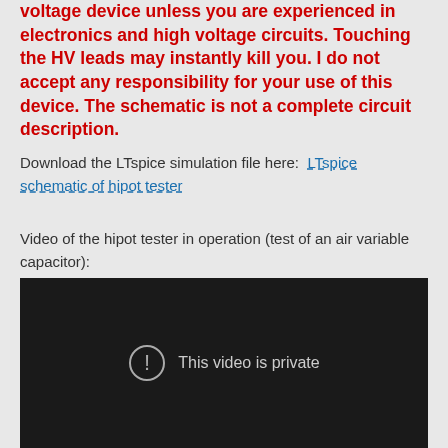voltage device unless you are experienced in electronics and high voltage circuits. Touching the HV leads may instantly kill you. I do not accept any responsibility for your use of this device. The schematic is not a complete circuit description.
Download the LTspice simulation file here: LTspice schematic of hipot tester
Video of the hipot tester in operation (test of an air variable capacitor):
[Figure (other): Embedded video player showing 'This video is private' message on dark background with an exclamation mark icon in a circle]